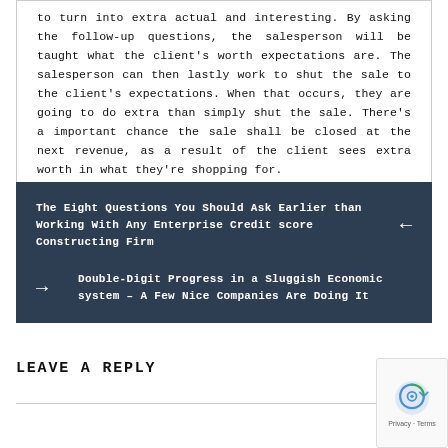to turn into extra actual and interesting. By asking the follow-up questions, the salesperson will be taught what the client's worth expectations are. The salesperson can then lastly work to shut the sale to the client's expectations. When that occurs, they are going to do extra than simply shut the sale. There's a important chance the sale shall be closed at the next revenue, as a result of the client sees extra worth in what they're shopping for.
The Eight Questions You Should Ask Earlier than Working With Any Enterprise Credit score Constructing Firm
Double-Digit Progress in a Sluggish Economic system – A Few Nice Companies Are Doing It
LEAVE A REPLY